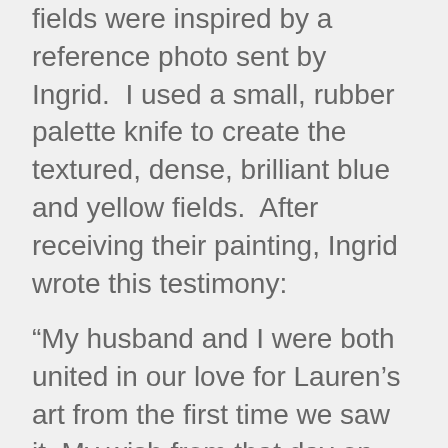fields were inspired by a reference photo sent by Ingrid.  I used a small, rubber palette knife to create the textured, dense, brilliant blue and yellow fields.  After receiving their painting, Ingrid wrote this testimony:
“My husband and I were both united in our love for Lauren’s art from the first time we saw it. My wish from that day on was to display one of her paintings in my home. The time has come and we couldn’t be more thrilled with it. We live on the prairies and Lauren